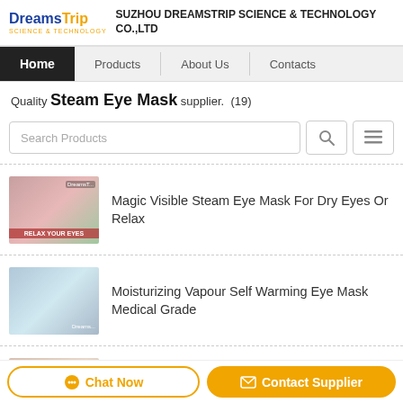SUZHOU DREAMSTRIP SCIENCE & TECHNOLOGY CO.,LTD
Home | Products | About Us | Contacts
Quality Steam Eye Mask supplier.  (19)
Search Products
Magic Visible Steam Eye Mask For Dry Eyes Or Relax
Moisturizing Vapour Self Warming Eye Mask Medical Grade
Real Steam Released Self Heating Eye Mask With Lavender
Chat Now   Contact Supplier